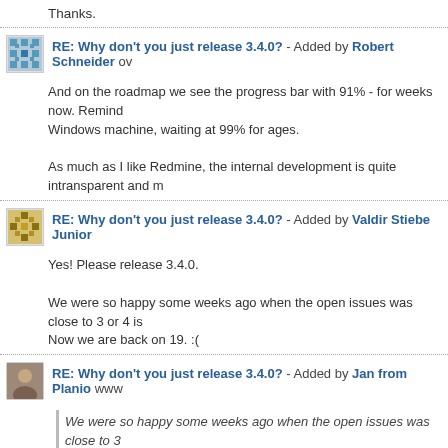Thanks.
RE: Why don't you just release 3.4.0? - Added by Robert Schneider ov
And on the roadmap we see the progress bar with 91% - for weeks now. Remind Windows machine, waiting at 99% for ages.

As much as I like Redmine, the internal development is quite intransparent and m
RE: Why don't you just release 3.4.0? - Added by Valdir Stiebe Junior
Yes! Please release 3.4.0.

We were so happy some weeks ago when the open issues was close to 3 or 4 is Now we are back on 19. :(
RE: Why don't you just release 3.4.0? - Added by Jan from Planio www
We were so happy some weeks ago when the open issues was close to 3 Now we are back on 19. :(
Have a look at the issues that were recently added to 3.4.0 – they aren't new uns accepted patches that are (almost) ready to merge. In general, this shouldn't po much quicker than solving new problems), but make it better when it's out :-)
Please also note, that Redmine is a community effort run by volunteers in their sp believe we should respect that.
RE: Why don't you just release 3.4.0? - Added by Robert Schneider ov